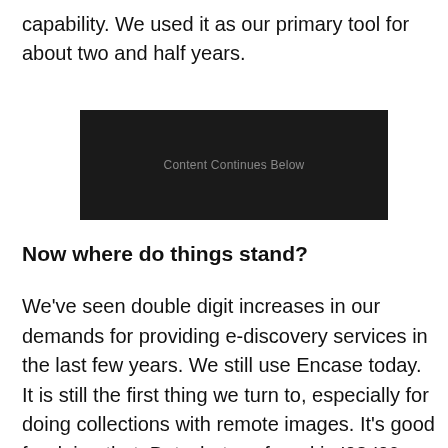capability. We used it as our primary tool for about two and half years.
[Figure (other): Dark advertisement banner with text 'Content Continues Below']
Now where do things stand?
We've seen double digit increases in our demands for providing e-discovery services in the last few years. We still use Encase today. It is still the first thing we turn to, especially for doing collections with remote images. It's good for doing that. But what we found in '08-'09 was the searching capability was a little bit slow. I can